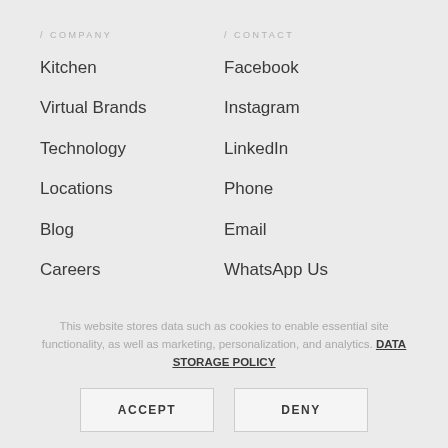/ COMPANY
/ CONTACT
Kitchen
Facebook
Virtual Brands
Instagram
Technology
LinkedIn
Locations
Phone
Blog
Email
Careers
WhatsApp Us
This website stores data such as cookies to enable essential site functionality, as well as marketing, personalization, and analytics. DATA STORAGE POLICY
ACCEPT
DENY